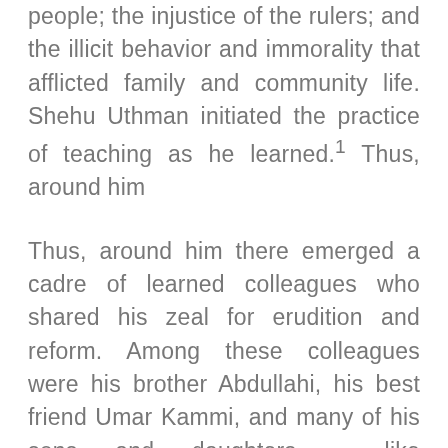people; the injustice of the rulers; and the illicit behavior and immorality that afflicted family and community life. Shehu Uthman initiated the practice of teaching as he learned.1 Thus, around him
Thus, around him there emerged a cadre of learned colleagues who shared his zeal for erudition and reform. Among these colleagues were his brother Abdullahi, his best friend Umar Kammi, and many of his sons and daughters – like Muhammad Bello, Muhammad Sanbu, Khadija and Nana Asma'u